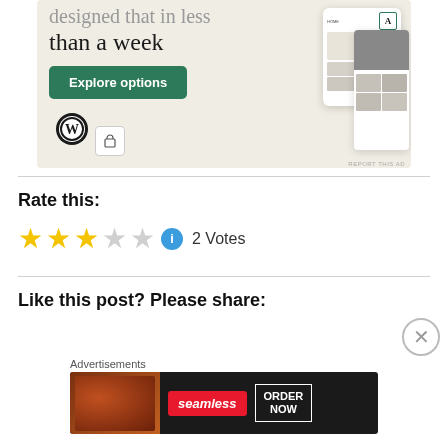[Figure (screenshot): WordPress website builder advertisement showing 'than a week' text, Explore options button, WordPress logo, and mock website screens on a beige background]
Rate this:
[Figure (infographic): Star rating showing 3 filled gold stars and 2 empty stars, with an info icon, followed by '2 Votes']
Like this post? Please share:
Advertisements
[Figure (screenshot): Seamless food delivery advertisement with pizza image, seamless logo in red, and ORDER NOW button]